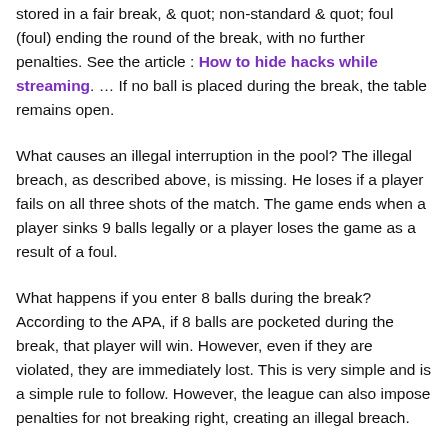stored in a fair break, & quot; non-standard & quot; foul (foul) ending the round of the break, with no further penalties. See the article : How to hide hacks while streaming. … If no ball is placed during the break, the table remains open.
What causes an illegal interruption in the pool? The illegal breach, as described above, is missing. He loses if a player fails on all three shots of the match. The game ends when a player sinks 9 balls legally or a player loses the game as a result of a foul.
What happens if you enter 8 balls during the break? According to the APA, if 8 balls are pocketed during the break, that player will win. However, even if they are violated, they are immediately lost. This is very simple and is a simple rule to follow. However, the league can also impose penalties for not breaking right, creating an illegal breach.